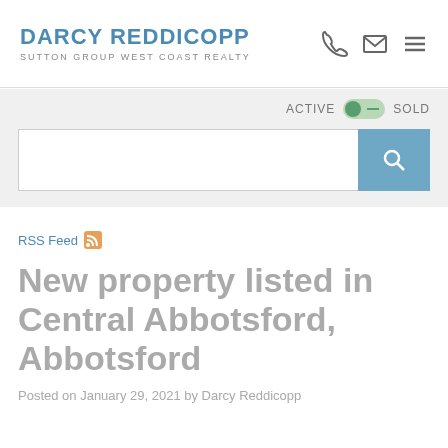DARCY REDDICOPP — SUTTON GROUP WEST COAST REALTY
ACTIVE  SOLD (toggle)
RSS Feed
New property listed in Central Abbotsford, Abbotsford
Posted on January 29, 2021 by Darcy Reddicopp